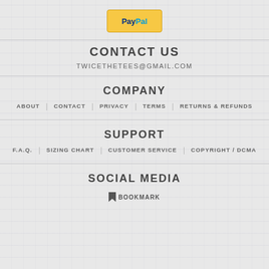[Figure (logo): PayPal logo button with yellow/gold background]
CONTACT US
TWICETHETEES@GMAIL.COM
COMPANY
ABOUT | CONTACT | PRIVACY | TERMS | RETURNS & REFUNDS
SUPPORT
F.A.Q. | SIZING CHART | CUSTOMER SERVICE | COPYRIGHT / DCMA
SOCIAL MEDIA
BOOKMARK